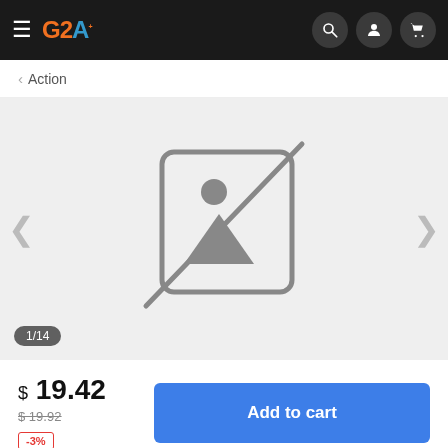G2A navigation bar with hamburger menu, G2A logo, search, account, and cart icons
< Action
[Figure (screenshot): No image placeholder with a broken image icon (image with slash through it). Shows counter 1/14 in bottom left. Has left and right carousel arrows.]
$ 19.42
$19.92
-3%
Add to cart